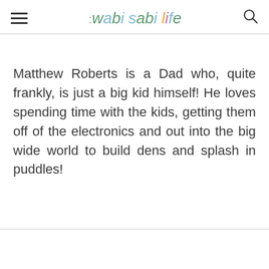≡  :wabi sabi life  🔍
Matthew Roberts is a Dad who, quite frankly, is just a big kid himself! He loves spending time with the kids, getting them off of the electronics and out into the big wide world to build dens and splash in puddles!